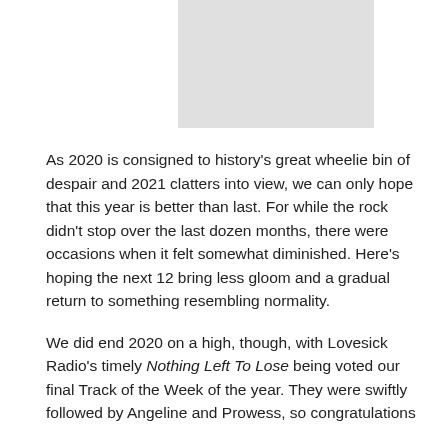[Figure (photo): A light gray rectangular image placeholder at the top center of the page.]
As 2020 is consigned to history's great wheelie bin of despair and 2021 clatters into view, we can only hope that this year is better than last. For while the rock didn't stop over the last dozen months, there were occasions when it felt somewhat diminished. Here's hoping the next 12 bring less gloom and a gradual return to something resembling normality.
We did end 2020 on a high, though, with Lovesick Radio's timely Nothing Left To Lose being voted our final Track of the Week of the year. They were swiftly followed by Angeline and Prowess, so congratulations